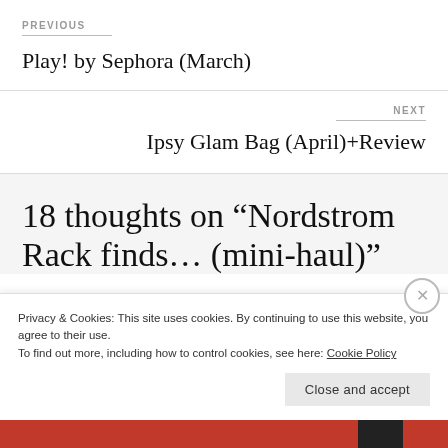PREVIOUS
Play! by Sephora (March)
NEXT
Ipsy Glam Bag (April)+Review
18 thoughts on “Nordstrom Rack finds… (mini-haul)”
Privacy & Cookies: This site uses cookies. By continuing to use this website, you agree to their use.
To find out more, including how to control cookies, see here: Cookie Policy
Close and accept